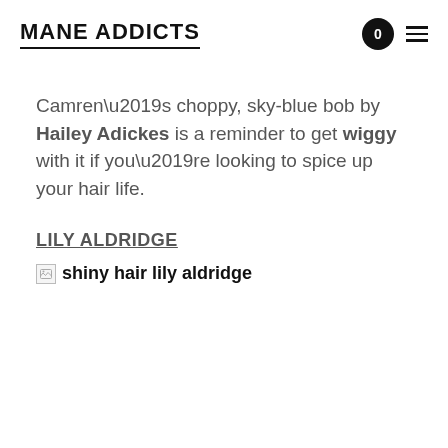MANE ADDICTS
Camren’s choppy, sky-blue bob by Hailey Adickes is a reminder to get wiggy with it if you’re looking to spice up your hair life.
LILY ALDRIDGE
[Figure (photo): Broken image placeholder for shiny hair lily aldridge]